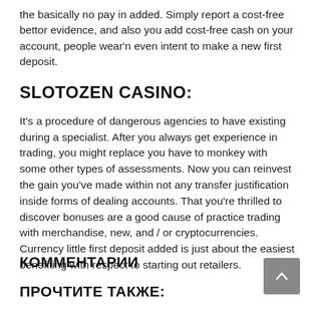the basically no pay in added. Simply report a cost-free bettor evidence, and also you add cost-free cash on your account, people wear'n even intent to make a new first deposit.
SLOTOZEN CASINO:
It's a procedure of dangerous agencies to have existing during a specialist. After you always get experience in trading, you might replace you have to monkey with some other types of assessments. Now you can reinvest the gain you've made within not any transfer justification inside forms of dealing accounts. That you're thrilled to discover bonuses are a good cause of practice trading with merchandise, new, and / or cryptocurrencies. Currency little first deposit added is just about the easiest benefiting with respect to starting out retailers.
КОММЕНТАРИИ
ПРОЧТИТЕ ТАКЖЕ: